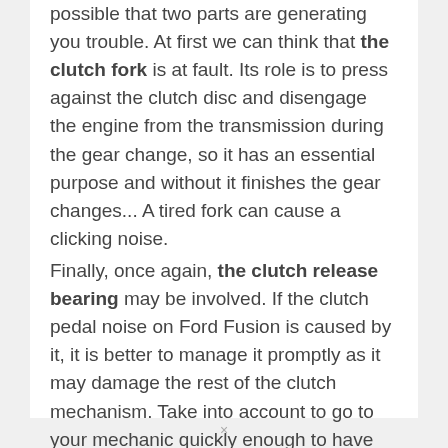possible that two parts are generating you trouble. At first we can think that the clutch fork is at fault. Its role is to press against the clutch disc and disengage the engine from the transmission during the gear change, so it has an essential purpose and without it finishes the gear changes... A tired fork can cause a clicking noise.
Finally, once again, the clutch release bearing may be involved. If the clutch pedal noise on Ford Fusion is caused by it, it is better to manage it promptly as it may damage the rest of the clutch mechanism. Take into account to go to your mechanic quickly enough to have the repair carried out, take the opportunity to swap the complete clutch kit and pay the labour to open the gearbox. For more info on clicking noise on Ford Fusion, browse this article content.